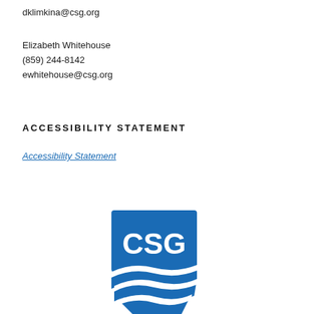dklimkina@csg.org
Elizabeth Whitehouse
(859) 244-8142
ewhitehouse@csg.org
ACCESSIBILITY STATEMENT
Accessibility Statement
[Figure (logo): CSG (Council of State Governments) logo — blue shield/badge shape with 'CSG' text in white and three white wave lines below]